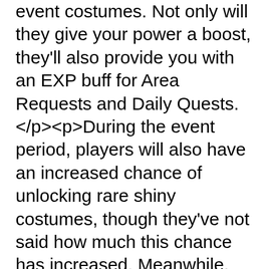event costumes. Not only will they give your power a boost, they'll also provide you with an EXP buff for Area Requests and Daily Quests. </p><p>During the event period, players will also have an increased chance of unlocking rare shiny costumes, though they've not said how much this chance has increased. Meanwhile, though, all Shedim's Favor Artifacts and costumes can be purchased at 20% off.</p><p>&nbsp;</p><p>Rounding off the event news is the Diamond Mileage Event. This will give participating players Enhancement Guard Tickets and Pet Summon Scrolls if they consume Blue and White diamonds.</p><p>Alongside the Halloween merriment, there are a few permanent changes to AxE too. Firstly,